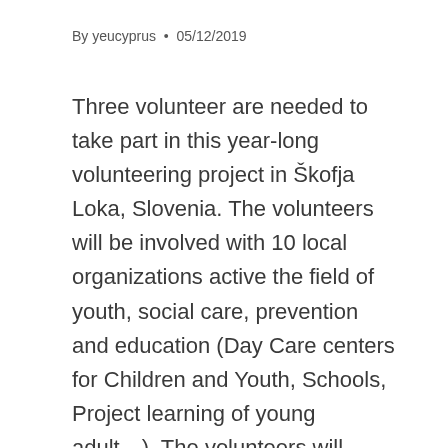By yeucyprus • 05/12/2019
Three volunteer are needed to take part in this year-long volunteering project in Škofja Loka, Slovenia. The volunteers will be involved with 10 local organizations active the field of youth, social care, prevention and education (Day Care centers for Children and Youth, Schools, Project learning of young adult…). The volunteers will have the opportunity to show and improve his/her own abilities, develop sense of initiative, gain new skills and get new knowledge through organizing and realizing different activities (workshops, courses, individual support, sports, games, plays, presentations, lectures).Two volunteers will be working in a Day Care Center for Children and